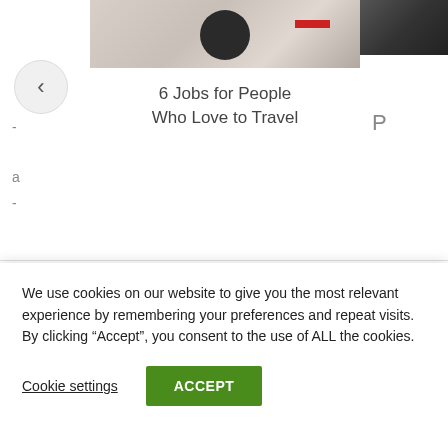[Figure (screenshot): Partial screenshot of a website carousel showing a center card with thumbnail image of a person, navigation arrows (left/right), and partial left and right columns with truncated text]
6 Jobs for People Who Love to Travel
We use cookies on our website to give you the most relevant experience by remembering your preferences and repeat visits. By clicking “Accept”, you consent to the use of ALL the cookies.
Cookie settings
ACCEPT